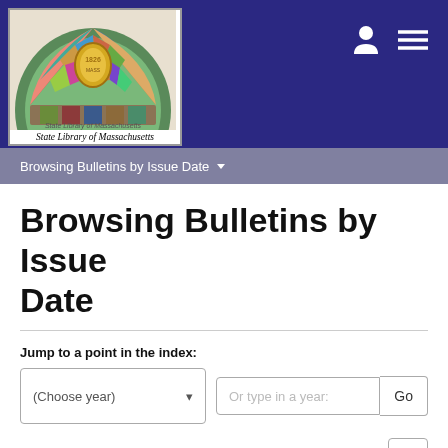[Figure (logo): State Library of Massachusetts logo: stained glass dome image above italic caption 'State Library of Massachusetts']
Browsing Bulletins by Issue Date
Browsing Bulletins by Issue Date
Jump to a point in the index:
Now showing items 1-20 of 261
Bulletin (1995-08-25: 1995 Legislative Enactments)
Massachusetts. Department of Revenue. Division of Local Services.